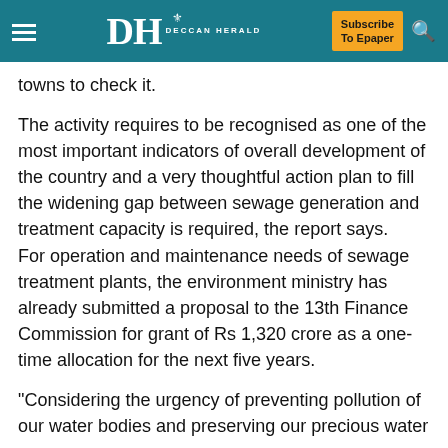DH DECCAN HERALD — Subscribe To Epaper
towns to check it.
The activity requires to be recognised as one of the most important indicators of overall development of the country and a very thoughtful action plan to fill the widening gap between sewage generation and treatment capacity is required, the report says.
For operation and maintenance needs of sewage treatment plants, the environment ministry has already submitted a proposal to the 13th Finance Commission for grant of Rs 1,320 crore as a one-time allocation for the next five years.
"Considering the urgency of preventing pollution of our water bodies and preserving our precious water resources,